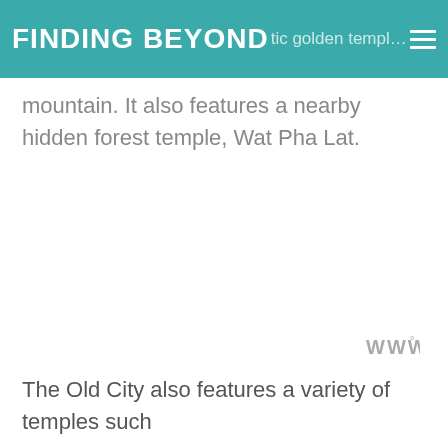FINDING BEYOND
tic golden temple atop mountain. It also features a nearby hidden forest temple, Wat Pha Lat.
[Figure (logo): Watermark logo with letters 'W' and degree symbol]
The Old City also features a variety of temples such